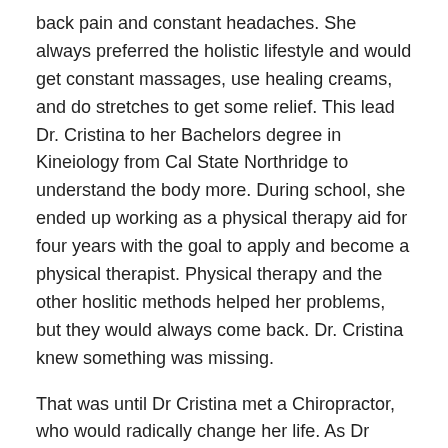back pain and constant headaches. She always preferred the holistic lifestyle and would get constant massages, use healing creams, and do stretches to get some relief. This lead Dr. Cristina to her Bachelors degree in Kineiology from Cal State Northridge to understand the body more. During school, she ended up working as a physical therapy aid for four years with the goal to apply and become a physical therapist. Physical therapy and the other hoslitic methods helped her problems, but they would always come back. Dr. Cristina knew something was missing.
That was until Dr Cristina met a Chiropractor, who would radically change her life. As Dr Cristina went under Chiropractic care she noticed that not only did she feel better, but other symptoms went away as well.
"My headaches vanished, I had more energy than ever, I slept deeper, I was happier and more outgoing. I discovered my passion and calling."
Dr Cristina went on to receive her Doctor of Chiropractic degree